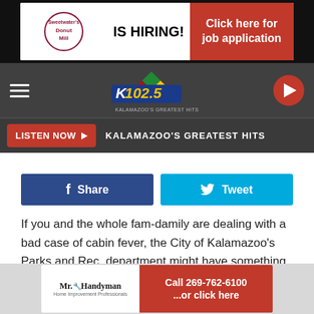[Figure (screenshot): Sweetwater's Donut Mill IS HIRING! Click here for job application - advertisement banner]
[Figure (logo): K102.5 Kalamazoo's Greatest Hits radio station navigation bar with hamburger menu and play button]
LISTEN NOW ▶   KALAMAZOO'S GREATEST HITS
[Figure (screenshot): Facebook Share and Twitter Tweet social media buttons]
If you and the whole fam-damily are dealing with a bad case of cabin fever, the City of Kalamazoo's Parks and Rec. department might have something to get you out and about to at least change your surroundings for a little while.
Kzoo Parks will be hosting a Winter Family
[Figure (screenshot): Mr. Handyman advertisement - Call 269-762-6100 ...or click here]